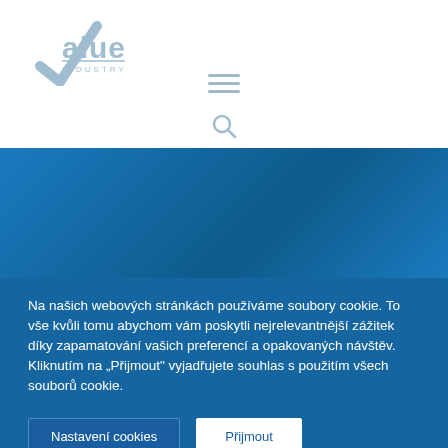[Figure (logo): Value Industry logo with checkmark and blue text]
[Figure (other): Hamburger menu icon (three horizontal lines)]
[Figure (other): Search/magnifying glass icon]
[Figure (other): Blue hero banner with partially visible white text]
Na našich webových stránkách používáme soubory cookie. To vše kvůli tomu abychom vám poskytli nejrelevantnější zážitek díky zapamatování vašich preferencí a opakovaných návštěv. Kliknutím na „Přijmout" vyjadřujete souhlas s použitím všech souborů cookie.
Nastavení cookies
Přijmout